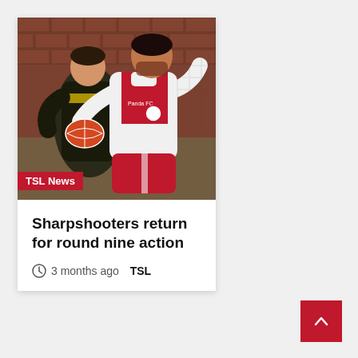[Figure (photo): Two Australian rules football players competing for the ball. One player wearing a red and white jersey and shorts (Panda FC) holds an orange/red football, contested by another player in a black and yellow uniform. Background shows a brick wall.]
TSL News
Sharpshooters return for round nine action
3 months ago  TSL